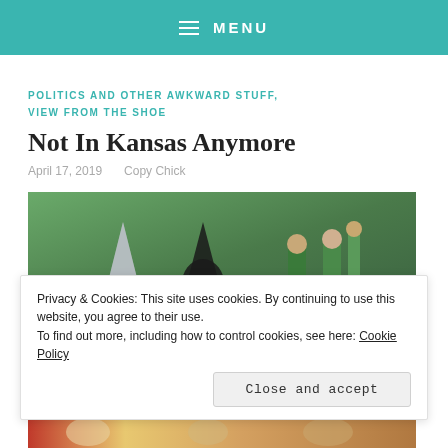≡ MENU
POLITICS AND OTHER AWKWARD STUFF, VIEW FROM THE SHOE
Not In Kansas Anymore
April 17, 2019   Copy Chick
[Figure (photo): Photo showing Wizard of Oz themed characters in green costumes on stage]
Privacy & Cookies: This site uses cookies. By continuing to use this website, you agree to their use.
To find out more, including how to control cookies, see here: Cookie Policy
Close and accept
[Figure (photo): Partial photo at the bottom of the page]